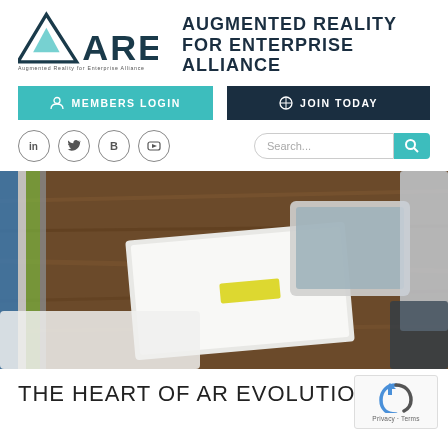[Figure (logo): AREA logo — triangular geometric mark with text 'AREA' and subtitle 'Augmented Reality for Enterprise Alliance']
AUGMENTED REALITY FOR ENTERPRISE ALLIANCE
MEMBERS LOGIN
JOIN TODAY
[Figure (illustration): Social media icons: LinkedIn, Twitter, Blogger (B), YouTube — circular bordered icons]
[Figure (screenshot): Search bar with teal search button]
[Figure (photo): Overhead photo of a wooden desk with papers, a laptop, and office supplies]
THE HEART OF AR EVOLUTION